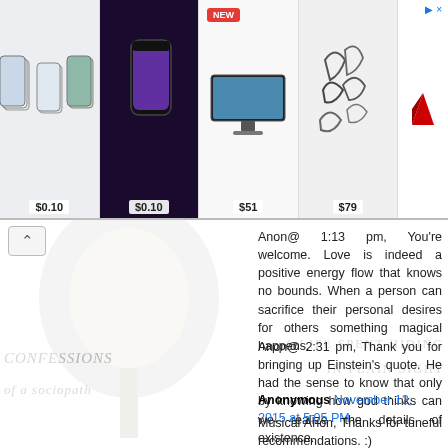[Figure (screenshot): Advertisement bar showing product images: two iPhone groupings at $0.10 each, a TV at $51, decorative items at $79, and a brand logo at far right with close icon]
Anon@ 1:13 pm, You're welcome. Love is indeed a positive energy flow that knows no bounds. When a person can sacrifice their personal desires for others something magical happens.
Anon@ 2:31 pm, Thank you for bringing up Einstein's quote. He had the sense to know that only by knowing how god thinks can we realize the details of existence.
Mr. Hyde
Anonymous November 12, 2015 at 5:05 PM
Musical Anon, Thanks for tuneful recommendations. :)